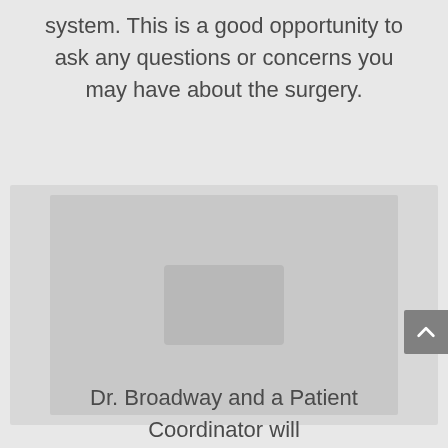system. This is a good opportunity to ask any questions or concerns you may have about the surgery.
[Figure (photo): A blurred/faded photograph, likely showing a medical or clinical scene, centered in the page.]
Dr. Broadway and a Patient Coordinator will